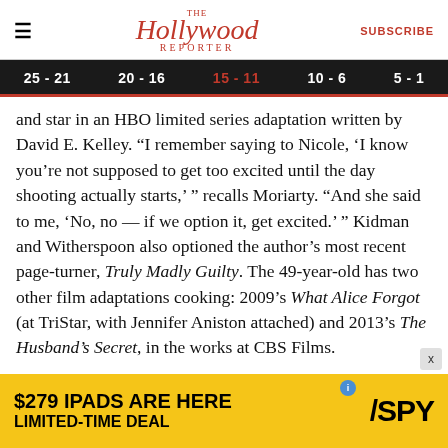The Hollywood Reporter | SUBSCRIBE
25 - 21 | 20 - 16 | 15 - 11 | 10 - 6 | 5 - 1
and star in an HBO limited series adaptation written by David E. Kelley. “I remember saying to Nicole, ‘I know you’re not supposed to get too excited until the day shooting actually starts,’ ” recalls Moriarty. “And she said to me, ‘No, no — if we option it, get excited.’ ” Kidman and Witherspoon also optioned the author’s most recent page-turner, Truly Madly Guilty. The 49-year-old has two other film adaptations cooking: 2009’s What Alice Forgot (at TriStar, with Jennifer Aniston attached) and 2013’s The Husband’s Secret, in the works at CBS Films.
[Figure (other): $279 iPads Are Here Limited-Time Deal advertisement for SPY website]